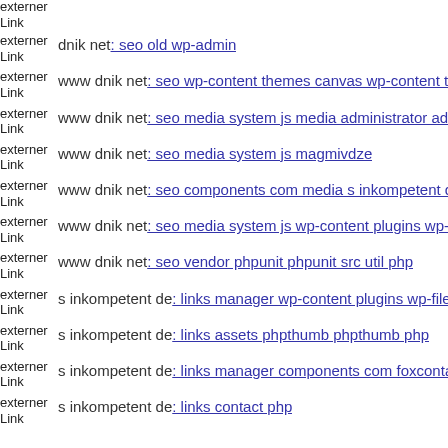externer Link dnik net: seo old wp-admin
externer Link www dnik net: seo wp-content themes canvas wp-content th
externer Link www dnik net: seo media system js media administrator adm
externer Link www dnik net: seo media system js magmivdze
externer Link www dnik net: seo components com media s inkompetent d
externer Link www dnik net: seo media system js wp-content plugins wp-
externer Link www dnik net: seo vendor phpunit phpunit src util php
externer Link s inkompetent de: links manager wp-content plugins wp-file
externer Link s inkompetent de: links assets phpthumb phpthumb php
externer Link s inkompetent de: links manager components com foxconta
externer Link s inkompetent de: links contact php